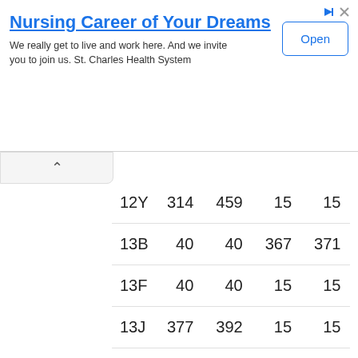[Figure (screenshot): Advertisement banner for St. Charles Health System nursing careers with title 'Nursing Career of Your Dreams', body text, and an Open button]
| 12Y | 314 | 459 | 15 | 15 |
| 13B | 40 | 40 | 367 | 371 |
| 13F | 40 | 40 | 15 | 15 |
| 13J | 377 | 392 | 15 | 15 |
| 13M | 212 | 257 | 15 | 15 |
| 13R | 798 | 798 | 15 | 15 |